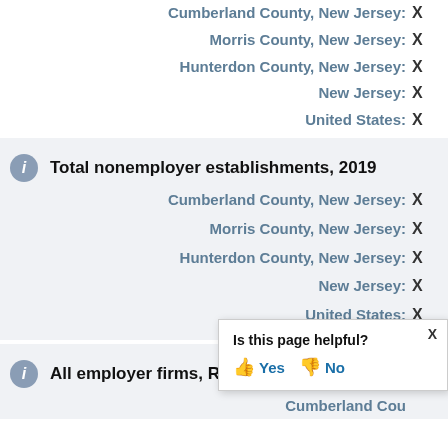Total employment, percent change, 2021-2022 (partial, top of page)
Cumberland County, New Jersey: X
Morris County, New Jersey: X
Hunterdon County, New Jersey: X
New Jersey: X
United States: X
Total nonemployer establishments, 2019
Cumberland County, New Jersey: X
Morris County, New Jersey: X
Hunterdon County, New Jersey: X
New Jersey: X
United States: X
All employer firms, Reference year
Cumberland County, New Jersey: X
[Figure (screenshot): Is this page helpful? popup with Yes and No buttons and X close button]